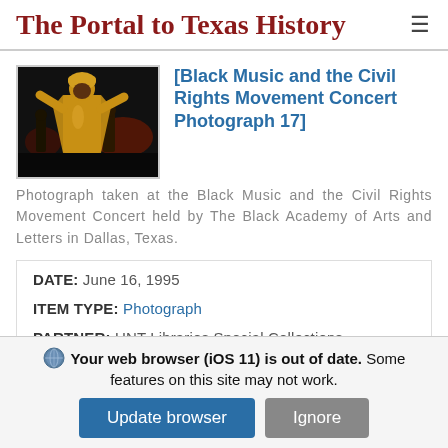The Portal to Texas History
[Figure (photo): Photograph of a performer on stage wearing an ornate gold outfit, performing at the Black Music and the Civil Rights Movement Concert. Dark background with other performers visible.]
[Black Music and the Civil Rights Movement Concert Photograph 17]
Photograph taken at the Black Music and the Civil Rights Movement Concert held by The Black Academy of Arts and Letters in Dallas, Texas.
DATE: June 16, 1995
ITEM TYPE: Photograph
PARTNER: UNT Libraries Special Collections
Your web browser (iOS 11) is out of date. Some features on this site may not work.